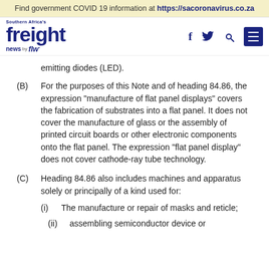Find government COVID 19 information at https://sacoronavirus.co.za
[Figure (logo): Southern Africa's freight news by flw logo with navigation icons (Facebook, Twitter, Search, Menu)]
emitting diodes (LED).
(B) For the purposes of this Note and of heading 84.86, the expression "manufacture of flat panel displays" covers the fabrication of substrates into a flat panel. It does not cover the manufacture of glass or the assembly of printed circuit boards or other electronic components onto the flat panel. The expression "flat panel display" does not cover cathode-ray tube technology.
(C) Heading 84.86 also includes machines and apparatus solely or principally of a kind used for:
(i) The manufacture or repair of masks and reticle;
(ii) assembling semiconductor device or